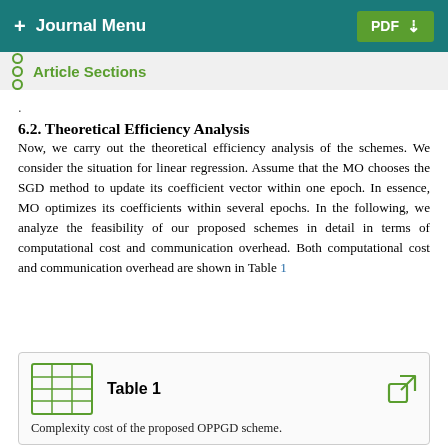+ Journal Menu | PDF
Article Sections
. .
6.2. Theoretical Efficiency Analysis
Now, we carry out the theoretical efficiency analysis of the schemes. We consider the situation for linear regression. Assume that the MO chooses the SGD method to update its coefficient vector within one epoch. In essence, MO optimizes its coefficients within several epochs. In the following, we analyze the feasibility of our proposed schemes in detail in terms of computational cost and communication overhead. Both computational cost and communication overhead are shown in Table 1
Table 1 — Complexity cost of the proposed OPPGD scheme.